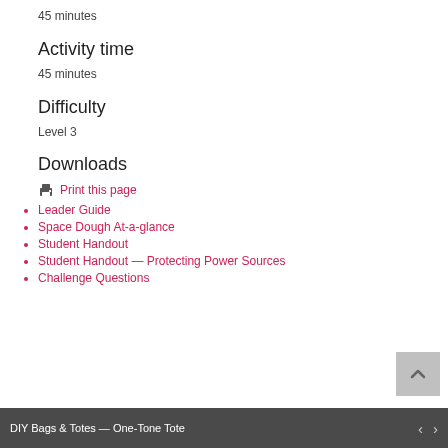45 minutes
Activity time
45 minutes
Difficulty
Level 3
Downloads
Print this page
Leader Guide
Space Dough At-a-glance
Student Handout
Student Handout — Protecting Power Sources
Challenge Questions
DIY Bags & Totes — One-Tone Tote